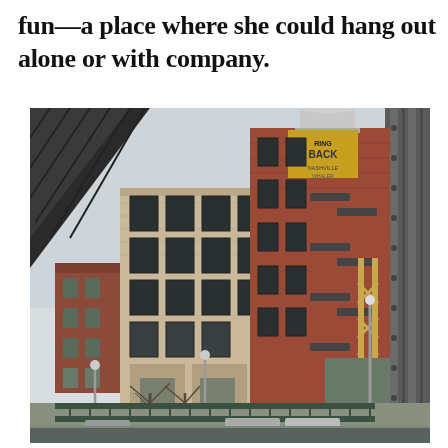fun—a place where she could hang out alone or with company.
[Figure (photo): Exterior photograph of urban brick apartment buildings viewed from behind a steel bridge or elevated structure. A tall red-brick building with balconies dominates the center-right, and a water tower with a sign reading 'BACK' is visible at the top. A lighter-colored brick building is to its left. Bare winter trees, street lamps, fencing, and parked cars are visible in the foreground. A large dark steel column is on the far right edge.]